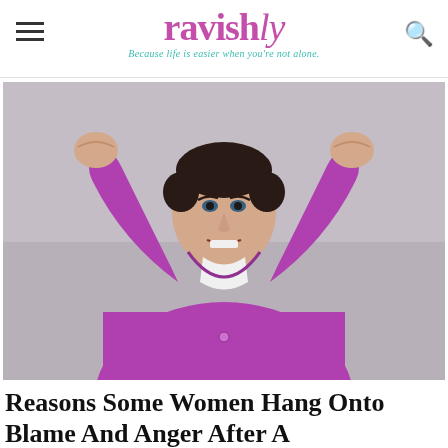ravishly — Because life is easier when you're not alone.
[Figure (photo): An angry-looking woman in a purple/magenta long-sleeve cardigan with short dark hair, raising both fists in an aggressive pose against a grey background.]
Reasons Some Women Hang Onto Blame And Anger After A